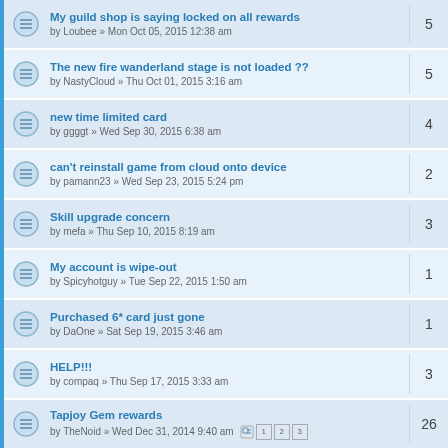My guild shop is saying locked on all rewards
by Loubee » Mon Oct 05, 2015 12:38 am
Replies: 5
The new fire wanderland stage is not loaded ??
by NastyCloud » Thu Oct 01, 2015 3:16 am
Replies: 5
new time limited card
by ggggt » Wed Sep 30, 2015 6:38 am
Replies: 4
can't reinstall game from cloud onto device
by pamann23 » Wed Sep 23, 2015 5:24 pm
Replies: 2
Skill upgrade concern
by mefa » Thu Sep 10, 2015 8:19 am
Replies: 3
My account is wipe-out
by Spicyhotguy » Tue Sep 22, 2015 1:50 am
Replies: 1
Purchased 6* card just gone
by DaOne » Sat Sep 19, 2015 3:46 am
Replies: 1
HELP!!!
by compaq » Thu Sep 17, 2015 3:33 am
Replies: 3
Tapjoy Gem rewards
by TheNoid » Wed Dec 31, 2014 9:40 am
Replies: 26
App closing with no reason. Please help
by NastyCloud » Tue Sep 08, 2015 4:38 pm
Replies: 9
lost account
by patrioticknight » Wed Sep 09, 2015 9:32 pm
Replies: 1